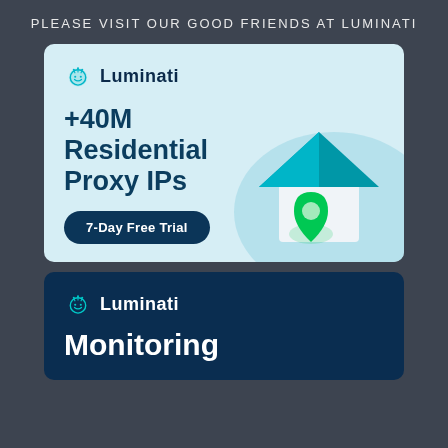PLEASE VISIT OUR GOOD FRIENDS AT LUMINATI
[Figure (infographic): Luminati advertisement banner with light blue background showing logo, '+40M Residential Proxy IPs' text, '7-Day Free Trial' button, and illustrated house with green location pin]
[Figure (infographic): Luminati dark blue advertisement banner showing logo and 'Monitoring' heading]